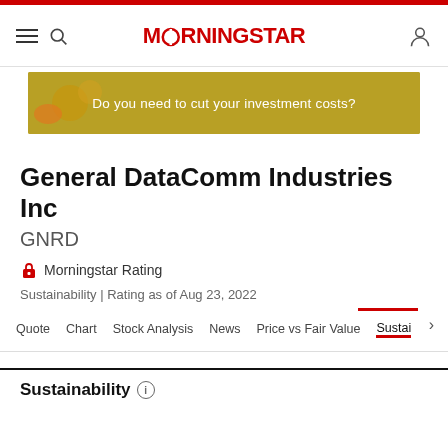MORNINGSTAR
[Figure (infographic): Gold advertisement banner: 'Do you need to cut your investment costs?']
General DataComm Industries Inc
GNRD
Morningstar Rating
Sustainability | Rating as of Aug 23, 2022
Quote  Chart  Stock Analysis  News  Price vs Fair Value  Sustai
Sustainability